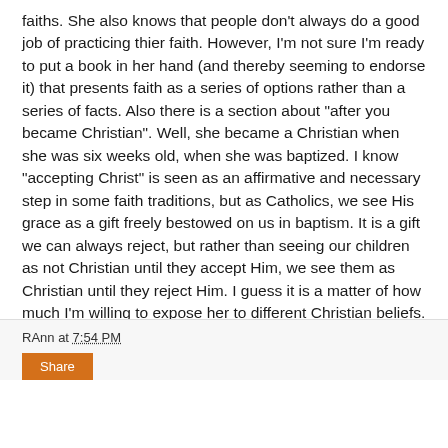faiths. She also knows that people don't always do a good job of practicing thier faith. However, I'm not sure I'm ready to put a book in her hand (and thereby seeming to endorse it) that presents faith as a series of options rather than a series of facts. Also there is a section about "after you became Christian". Well, she became a Christian when she was six weeks old, when she was baptized. I know "accepting Christ" is seen as an affirmative and necessary step in some faith traditions, but as Catholics, we see His grace as a gift freely bestowed on us in baptism. It is a gift we can always reject, but rather than seeing our children as not Christian until they accept Him, we see them as Christian until they reject Him. I guess it is a matter of how much I'm willing to expose her to different Christian beliefs.
Click here to read the first chapter.
RAnn at 7:54 PM
Share